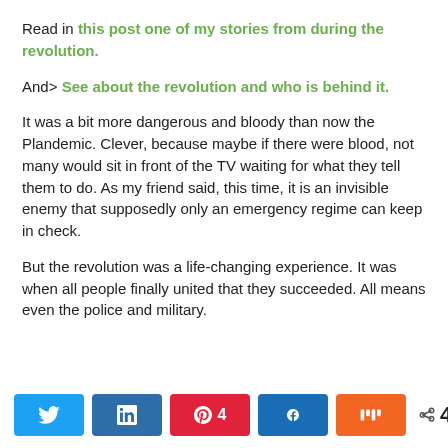Read in this post one of my stories from during the revolution.
And> See about the revolution and who is behind it.
It was a bit more dangerous and bloody than now the Plandemic. Clever, because maybe if there were blood, not many would sit in front of the TV waiting for what they tell them to do. As my friend said, this time, it is an invisible enemy that supposedly only an emergency regime can keep in check.
But the revolution was a life-changing experience. It was when all people finally united that they succeeded. All means even the police and military.
[Figure (infographic): Social share buttons row: Twitter (blue), LinkedIn (dark blue), Pinterest with count 4 (red), Facebook (blue), Mix (orange), and share icon with total 4 SHARES]